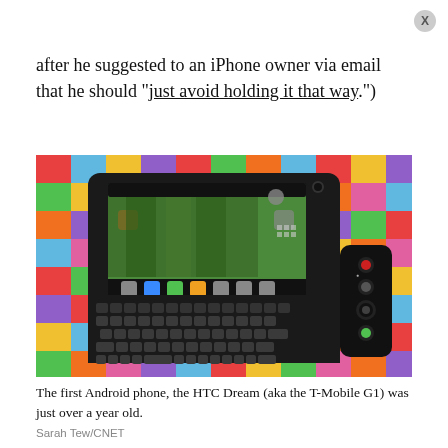after he suggested to an iPhone owner via email that he should "just avoid holding it that way.")
[Figure (photo): Photo of the HTC Dream (T-Mobile G1), the first Android smartphone, with a slide-out QWERTY keyboard, resting on a colorful patchwork/quilt background.]
The first Android phone, the HTC Dream (aka the T-Mobile G1) was just over a year old.
Sarah Tew/CNET